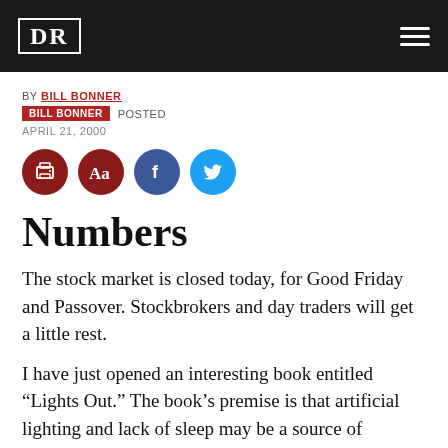DR
BY BILL BONNER
BILL BONNER POSTED
APRIL 21, 2000
[Figure (other): Social sharing icons: print, font size, Facebook, Twitter]
Numbers
The stock market is closed today, for Good Friday and Passover. Stockbrokers and day traders will get a little rest.
I have just opened an interesting book entitled “Lights Out.” The book’s premise is that artificial lighting and lack of sleep may be a source of health...